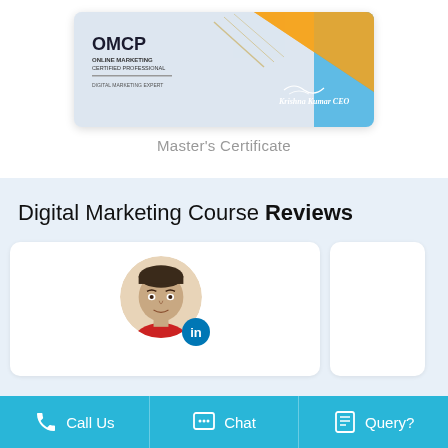[Figure (illustration): OMCP Online Marketing Certified Professional certificate card with gold lines design, orange and blue corner, and signature of Krishna Kumar CEO]
Master's Certificate
Digital Marketing Course Reviews
[Figure (photo): Profile photo of a man in a circular frame with a LinkedIn badge icon]
Call Us   Chat   Query?